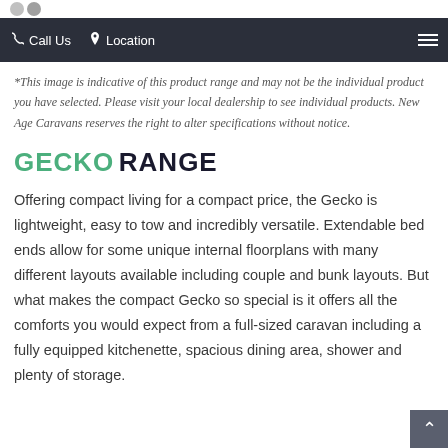Call Us  Location
*This image is indicative of this product range and may not be the individual product you have selected. Please visit your local dealership to see individual products. New Age Caravans reserves the right to alter specifications without notice.
GECKO RANGE
Offering compact living for a compact price, the Gecko is lightweight, easy to tow and incredibly versatile. Extendable bed ends allow for some unique internal floorplans with many different layouts available including couple and bunk layouts. But what makes the compact Gecko so special is it offers all the comforts you would expect from a full-sized caravan including a fully equipped kitchenette, spacious dining area, shower and plenty of storage.